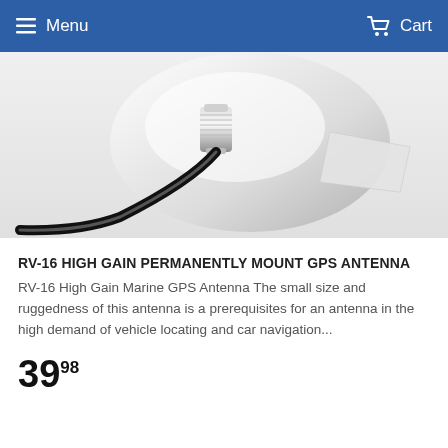Menu  Cart
[Figure (photo): Close-up photo of a white GPS antenna device with a black cable and chrome mounting hardware, partially showing a plastic wing/tab for mounting.]
RV-16 HIGH GAIN PERMANENTLY MOUNT GPS ANTENNA
RV-16 High Gain Marine GPS Antenna The small size and ruggedness of this antenna is a prerequisites for an antenna in the high demand of vehicle locating and car navigation...
39.98